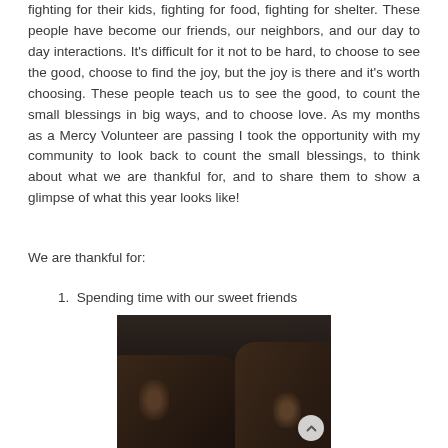fighting for their kids, fighting for food, fighting for shelter. These people have become our friends, our neighbors, and our day to day interactions. It's difficult for it not to be hard, to choose to see the good, choose to find the joy, but the joy is there and it's worth choosing. These people teach us to see the good, to count the small blessings in big ways, and to choose love. As my months as a Mercy Volunteer are passing I took the opportunity with my community to look back to count the small blessings, to think about what we are thankful for, and to share them to show a glimpse of what this year looks like!
We are thankful for:
1. Spending time with our sweet friends
[Figure (photo): Dark indoor photo showing a group of people gathered together, some seated, in a room with photos and items on the walls. A person appears to be lying or sitting low in the foreground. A scroll-up button is visible in the bottom right corner.]